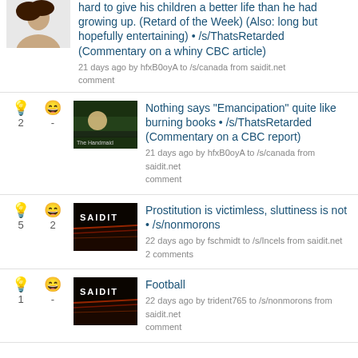hard to give his children a better life than he had growing up. (Retard of the Week) (Also: long but hopefully entertaining) • /s/ThatsRetarded (Commentary on a whiny CBC article) — 21 days ago by hfxB0oyA to /s/canada from saidit.net comment
Nothing says "Emancipation" quite like burning books • /s/ThatsRetarded (Commentary on a CBC report) — 21 days ago by hfxB0oyA to /s/canada from saidit.net comment — votes: 2
Prostitution is victimless, sluttiness is not • /s/nonmorons — 22 days ago by fschmidt to /s/Incels from saidit.net — 2 comments — votes: 5, 2
Football — 22 days ago by trident765 to /s/nonmorons from saidit.net comment — votes: 1